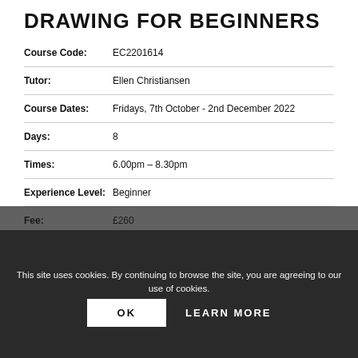DRAWING FOR BEGINNERS
Course Code: EC2201614
Tutor: Ellen Christiansen
Course Dates: Fridays, 7th October - 2nd December 2022
Days: 8
Times: 6.00pm – 8.30pm
Experience Level: Beginner
Fee: £260
Location: Art Academy London, 165A Mermaid Court, SE1 1HR
SELECT OPTIONS
This site uses cookies. By continuing to browse the site, you are agreeing to our use of cookies.
OK
LEARN MORE